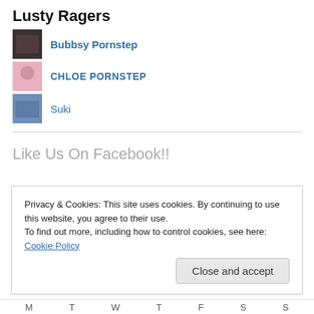Lusty Ragers
Bubbsy Pornstep
CHLOE PORNSTEP
Suki
Like Us On Facebook!!
Lustragers
77,129 hits
Privacy & Cookies: This site uses cookies. By continuing to use this website, you agree to their use.
To find out more, including how to control cookies, see here: Cookie Policy
Close and accept
M  T  W  T  F  S  S